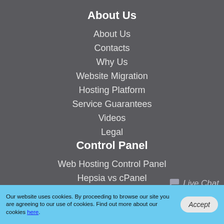About Us
About Us
Contacts
Why Us
Website Migration
Hosting Platform
Service Guarantees
Videos
Legal
Control Panel
Web Hosting Control Panel
Hepsia vs cPanel
Web Accelerators
Free Themes
Live Chat
Our website uses cookies. By proceeding to browse our site you are agreeing to our use of cookies. Find out more about our cookies here.